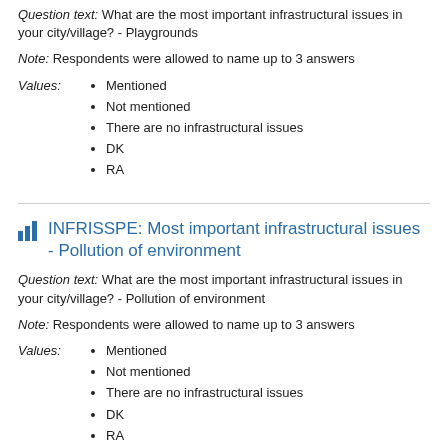Question text: What are the most important infrastructural issues in your city/village? - Playgrounds
Note: Respondents were allowed to name up to 3 answers
Mentioned
Not mentioned
There are no infrastructural issues
DK
RA
INFRISSPE: Most important infrastructural issues - Pollution of environment
Question text: What are the most important infrastructural issues in your city/village? - Pollution of environment
Note: Respondents were allowed to name up to 3 answers
Mentioned
Not mentioned
There are no infrastructural issues
DK
RA